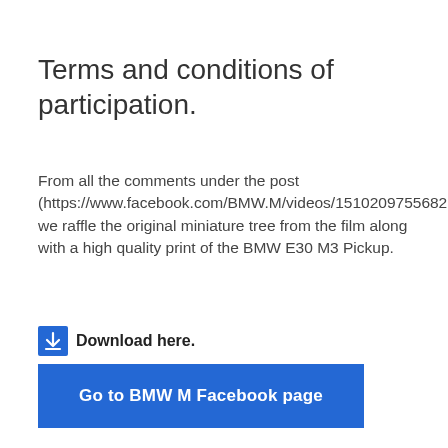Terms and conditions of participation.
From all the comments under the post (https://www.facebook.com/BMW.M/videos/1510209755682716/) we raffle the original miniature tree from the film along with a high quality print of the BMW E30 M3 Pickup.
Download here.
Go to BMW M Facebook page